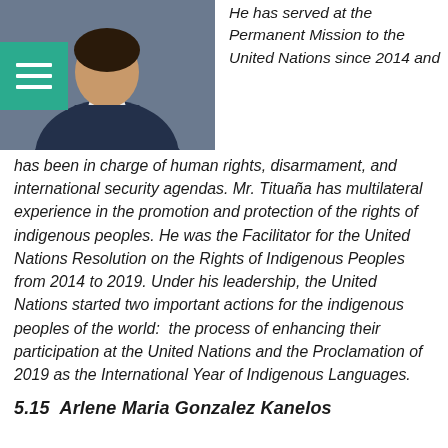[Figure (photo): Portrait photo of a person wearing dark academic robes, with a hamburger/menu icon overlay in teal on the left side]
He has served at the Permanent Mission to the United Nations since 2014 and has been in charge of human rights, disarmament, and international security agendas. Mr. Tituaña has multilateral experience in the promotion and protection of the rights of indigenous peoples. He was the Facilitator for the United Nations Resolution on the Rights of Indigenous Peoples from 2014 to 2019. Under his leadership, the United Nations started two important actions for the indigenous peoples of the world:  the process of enhancing their participation at the United Nations and the Proclamation of 2019 as the International Year of Indigenous Languages.
5.15  Arlene Maria Gonzalez Kanelos